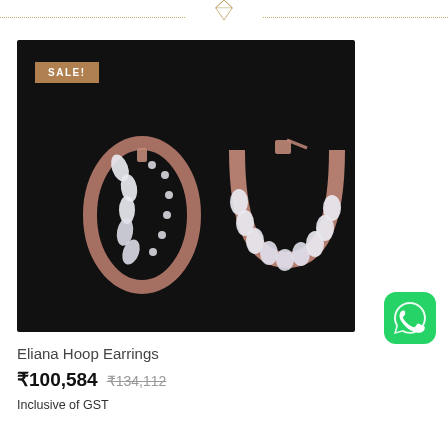[Figure (photo): Rose gold diamond hoop earrings (Eliana Hoop Earrings) shown from two angles on a black background. One view shows the front with marquise-cut diamonds in a leaf/vine pattern; the other shows the side/inside with diamonds set along a U-shaped hoop. A SALE badge appears in the top-left corner of the image.]
[Figure (logo): WhatsApp green icon with phone icon, circular green background]
Eliana Hoop Earrings
₹100,584  ₹134,112
Inclusive of GST